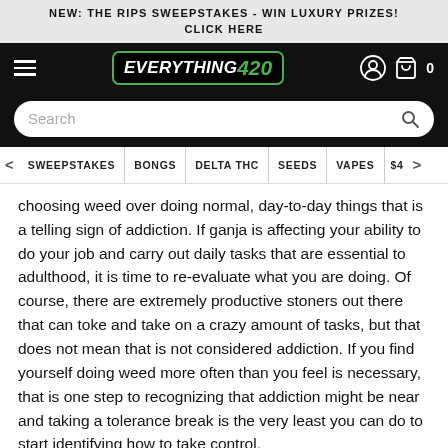NEW: THE RIPS SWEEPSTAKES - WIN LUXURY PRIZES!
CLICK HERE
[Figure (logo): Everything420 website navigation bar with hamburger menu, logo, user icon, and cart icon showing 0 items]
[Figure (screenshot): Search bar with placeholder text 'Search' and magnifying glass icon]
< SWEEPSTAKES | BONGS | DELTA THC | SEEDS | VAPES | $4>
choosing weed over doing normal, day-to-day things that is a telling sign of addiction. If ganja is affecting your ability to do your job and carry out daily tasks that are essential to adulthood, it is time to re-evaluate what you are doing. Of course, there are extremely productive stoners out there that can toke and take on a crazy amount of tasks, but that does not mean that is not considered addiction. If you find yourself doing weed more often than you feel is necessary, that is one step to recognizing that addiction might be near and taking a tolerance break is the very least you can do to start identifying how to take control.